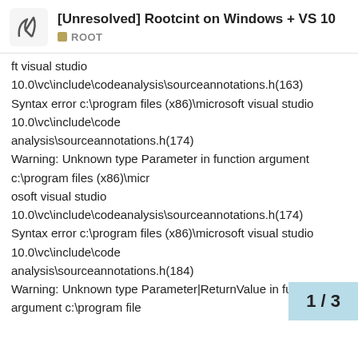[Unresolved] Rootcint on Windows + VS 10 — ROOT
ft visual studio 10.0\vc\include\codeanalysis\sourceannotations.h(163) Syntax error c:\program files (x86)\microsoft visual studio 10.0\vc\include\code analysis\sourceannotations.h(174) Warning: Unknown type Parameter in function argument c:\program files (x86)\micr osoft visual studio 10.0\vc\include\codeanalysis\sourceannotations.h(174) Syntax error c:\program files (x86)\microsoft visual studio 10.0\vc\include\code analysis\sourceannotations.h(184) Warning: Unknown type Parameter|ReturnValue in function argument c:\program file s (x86)\microsoft visual studio 10.0\vc\include\codeanalysis\sourceannotations.h (184) Syntax error c:\program files (x86)\micro 10.0\vc\include\code